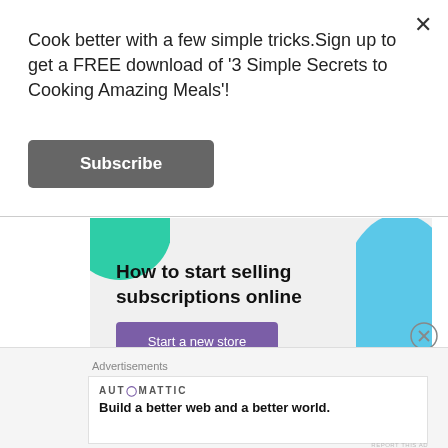Cook better with a few simple tricks.Sign up to get a FREE download of '3 Simple Secrets to Cooking Amazing Meals'!
Subscribe
[Figure (infographic): Advertisement banner for 'How to start selling subscriptions online' with a purple 'Start a new store' button, green shape top-left, blue shape right side, on light grey background]
August 11, 2022  Uncategorized
Advertisements
[Figure (infographic): Automattic advertisement: 'Build a better web and a better world.' with AUTOMATTIC logo]